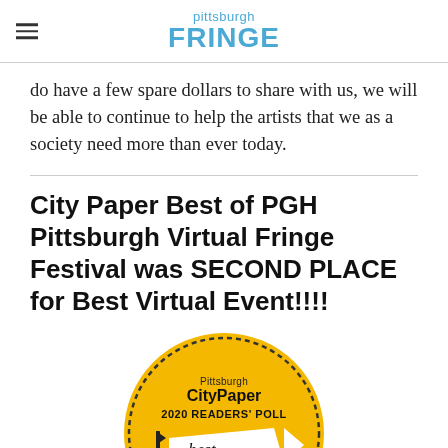pittsburgh FRINGE
do have a few spare dollars to share with us, we will be able to continue to help the artists that we as a society need more than ever today.
City Paper Best of PGH Pittsburgh Virtual Fringe Festival was SECOND PLACE for Best Virtual Event!!!!
[Figure (logo): Pittsburgh CityPaper 2020 Readers' Poll - Best of PGH badge. A golden circular badge with dotted border featuring 'CityPaper Pittsburgh 2020 READERS POLL' text and a 'best of PGH' pennant flag design in black and white.]